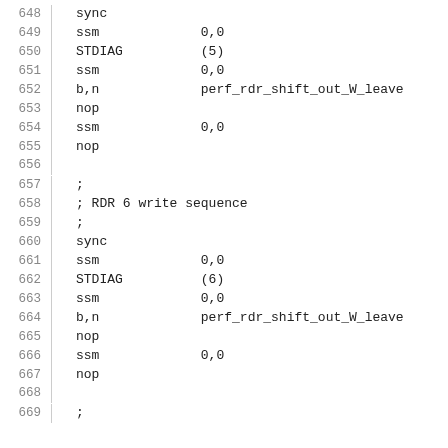648 sync
649 ssm 0,0
650 STDIAG (5)
651 ssm 0,0
652 b,n perf_rdr_shift_out_W_leave
653 nop
654 ssm 0,0
655 nop
656
657 ;
658 ; RDR 6 write sequence
659 ;
660 sync
661 ssm 0,0
662 STDIAG (6)
663 ssm 0,0
664 b,n perf_rdr_shift_out_W_leave
665 nop
666 ssm 0,0
667 nop
668
669 ;